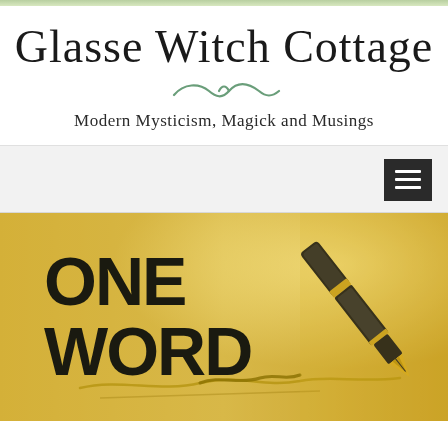Glasse Witch Cottage
Modern Mysticism, Magick and Musings
[Figure (illustration): Dark square hamburger/menu icon with three horizontal white lines on a dark background, positioned top-right of navigation bar]
[Figure (photo): Golden-toned image with bold text 'ONE WORD' on the left side and a close-up of a fountain pen nib writing on paper on the right side]